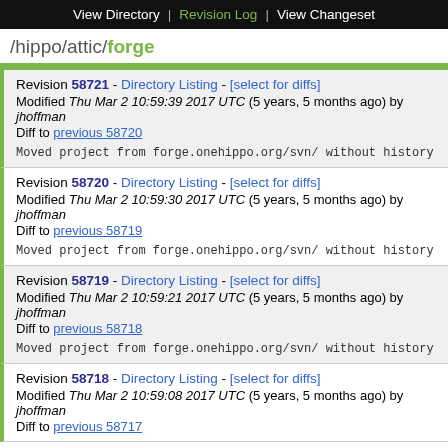View Directory | Revision Log | View Changeset
/hippo/attic/forge
Revision 58721 - Directory Listing - [select for diffs]
Modified Thu Mar 2 10:59:39 2017 UTC (5 years, 5 months ago) by jhoffman
Diff to previous 58720
Moved project from forge.onehippo.org/svn/ without history
Revision 58720 - Directory Listing - [select for diffs]
Modified Thu Mar 2 10:59:30 2017 UTC (5 years, 5 months ago) by jhoffman
Diff to previous 58719
Moved project from forge.onehippo.org/svn/ without history
Revision 58719 - Directory Listing - [select for diffs]
Modified Thu Mar 2 10:59:21 2017 UTC (5 years, 5 months ago) by jhoffman
Diff to previous 58718
Moved project from forge.onehippo.org/svn/ without history
Revision 58718 - Directory Listing - [select for diffs]
Modified Thu Mar 2 10:59:08 2017 UTC (5 years, 5 months ago) by jhoffman
Diff to previous 58717